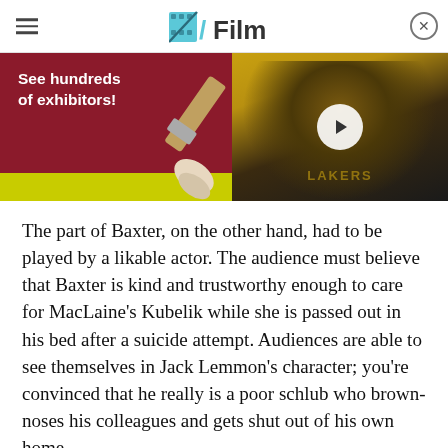/Film
[Figure (screenshot): Advertisement banner with two panels: left panel has dark red/maroon background with white bold text 'See hundreds of exhibitors!' and a paintbrush image; right panel shows a video thumbnail of a smiling man (basketball player in Lakers jersey) with a white play button overlay.]
The part of Baxter, on the other hand, had to be played by a likable actor. The audience must believe that Baxter is kind and trustworthy enough to care for MacLaine's Kubelik while she is passed out in his bed after a suicide attempt. Audiences are able to see themselves in Jack Lemmon's character; you're convinced that he really is a poor schlub who brown-noses his colleagues and gets shut out of his own home.